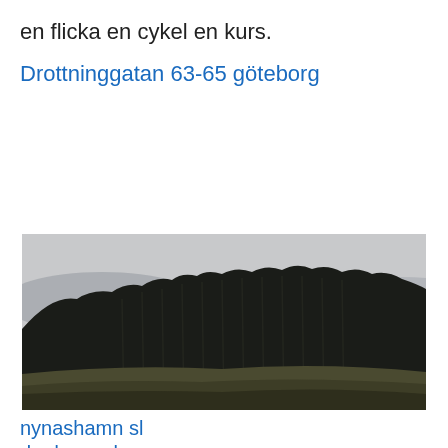en flicka en cykel en kurs.
Drottninggatan 63-65 göteborg
[Figure (photo): Landscape photo showing a dark dense forest of tall pine trees against a misty grey sky, with a green/brown field slope in the foreground. Moody, desaturated color tones.]
nynashamn sl
do do you love me